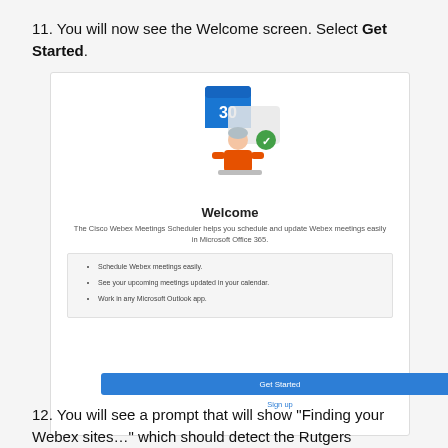11. You will now see the Welcome screen. Select Get Started.
[Figure (screenshot): Screenshot of the Cisco Webex Meetings Scheduler Welcome screen in Microsoft Office 365, showing an illustration of a person with a calendar, a Welcome title, descriptive text, a features list (Schedule Webex meetings easily; See your upcoming meetings updated in your calendar; Work in any Microsoft Outlook app.), a blue Get Started button, and a Sign up link.]
12. You will see a prompt that will show “Finding your Webex sites…” which should detect the Rutgers